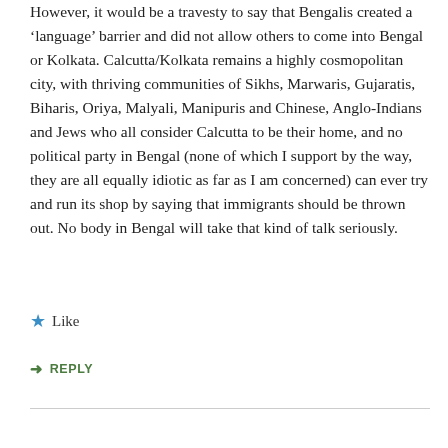However, it would be a travesty to say that Bengalis created a 'language' barrier and did not allow others to come into Bengal or Kolkata. Calcutta/Kolkata remains a highly cosmopolitan city, with thriving communities of Sikhs, Marwaris, Gujaratis, Biharis, Oriya, Malyali, Manipuris and Chinese, Anglo-Indians and Jews who all consider Calcutta to be their home, and no political party in Bengal (none of which I support by the way, they are all equally idiotic as far as I am concerned) can ever try and run its shop by saying that immigrants should be thrown out. No body in Bengal will take that kind of talk seriously.
Like
REPLY